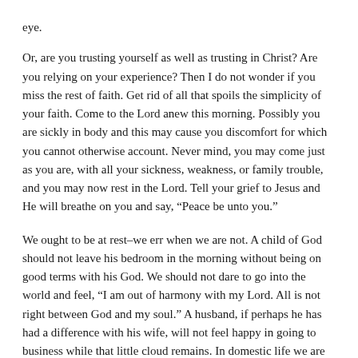eye.
Or, are you trusting yourself as well as trusting in Christ? Are you relying on your experience? Then I do not wonder if you miss the rest of faith. Get rid of all that spoils the simplicity of your faith. Come to the Lord anew this morning. Possibly you are sickly in body and this may cause you discomfort for which you cannot otherwise account. Never mind, you may come just as you are, with all your sickness, weakness, or family trouble, and you may now rest in the Lord. Tell your grief to Jesus and He will breathe on you and say, “Peace be unto you.”
We ought to be at rest–we err when we are not. A child of God should not leave his bedroom in the morning without being on good terms with his God. We should not dare to go into the world and feel, “I am out of harmony with my Lord. All is not right between God and my soul.” A husband, if perhaps he has had a difference with his wife, will not feel happy in going to business while that little cloud remains. In domestic life we are wise if we square all such matters before we separate. Let us part with a kiss.
This method of unbroken fellowship should be carefully maintained towards God. Be at perfect rest with Him. “Acquaint yourself with Him and